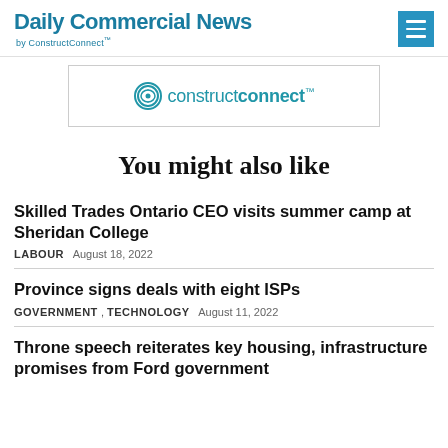Daily Commercial News by ConstructConnect
[Figure (logo): ConstructConnect logo inside a bordered advertisement box]
You might also like
Skilled Trades Ontario CEO visits summer camp at Sheridan College
LABOUR   August 18, 2022
Province signs deals with eight ISPs
GOVERNMENT , TECHNOLOGY   August 11, 2022
Throne speech reiterates key housing, infrastructure promises from Ford government